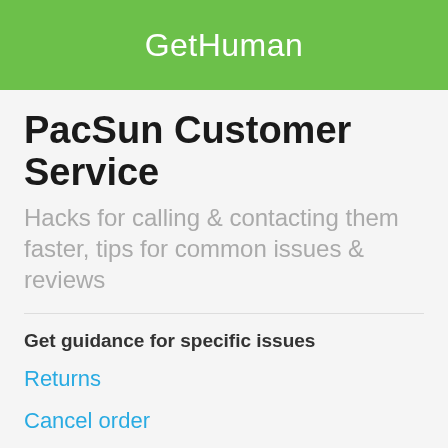GetHuman
PacSun Customer Service
Hacks for calling & contacting them faster, tips for common issues & reviews
Get guidance for specific issues
Returns
Cancel order
Change order
Track order
Complaint